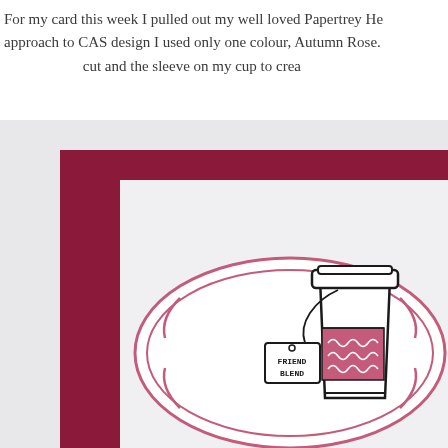For my card this week I pulled out my well loved Papertrey He approach to CAS design I used only one colour, Autumn Rose. cut and the sleeve on my cup to crea
[Figure (photo): A handmade greeting card featuring a coffee/tea cup stamp with a 'Friend Blend' tea tag, mounted on a dark red/burgundy card base with white layer. The cup has a pink decorative sleeve with swirl patterns and is set on a white oval label with a pink double oval border frame.]